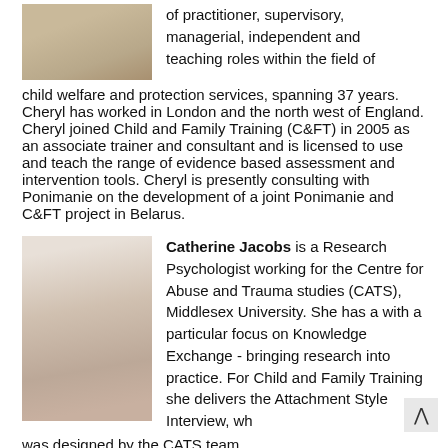[Figure (photo): Headshot photo of a person wearing a light knit sweater, partial view, top of page left side]
of practitioner, supervisory, managerial, independent and teaching roles within the field of child welfare and protection services, spanning 37 years. Cheryl has worked in London and the north west of England. Cheryl joined Child and Family Training (C&FT) in 2005 as an associate trainer and consultant and is licensed to use and teach the range of evidence based assessment and intervention tools. Cheryl is presently consulting with Ponimanie on the development of a joint Ponimanie and C&FT project in Belarus.
[Figure (photo): Headshot photo of Catherine Jacobs, a woman with glasses and light hair, smiling]
Catherine Jacobs is a Research Psychologist working for the Centre for Abuse and Trauma studies (CATS), Middlesex University. She has a with a particular focus on Knowledge Exchange - bringing research into practice. For Child and Family Training she delivers the Attachment Style Interview, wh
was designed by the CATS team.